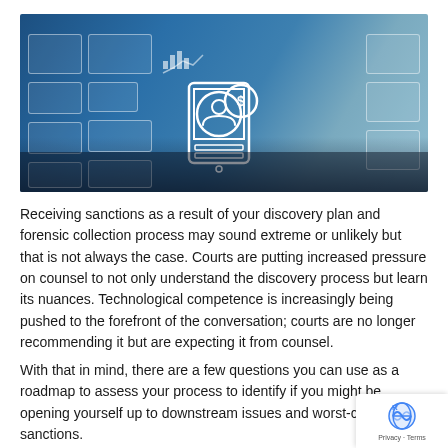[Figure (illustration): Hero banner image showing a person typing on a keyboard with digital/holographic UI overlays including icons for a user profile, dollar sign, charts, and various interface elements, rendered in blue tones. Central white line-art icon shows a smartphone with a person profile and coin/dollar symbol.]
Receiving sanctions as a result of your discovery plan and forensic collection process may sound extreme or unlikely but that is not always the case. Courts are putting increased pressure on counsel to not only understand the discovery process but learn its nuances. Technological competence is increasingly being pushed to the forefront of the conversation; courts are no longer recommending it but are expecting it from counsel.
With that in mind, there are a few questions you can use as a roadmap to assess your process to identify if you might be opening yourself up to downstream issues and worst-case sanctions.